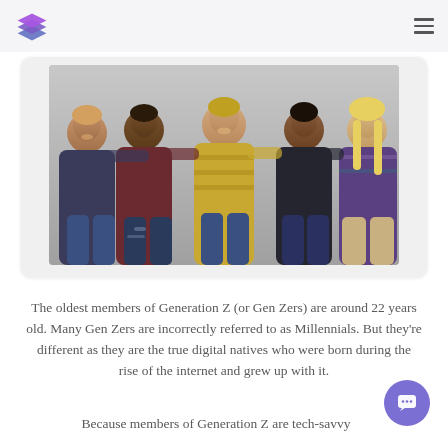[Figure (photo): Group of five young people (Generation Z) sitting together with arms around each other, smiling, diverse group]
The oldest members of Generation Z (or Gen Zers) are around 22 years old. Many Gen Zers are incorrectly referred to as Millennials. But they're different as they are the true digital natives who were born during the rise of the internet and grew up with it.
Because members of Generation Z are tech-savvy